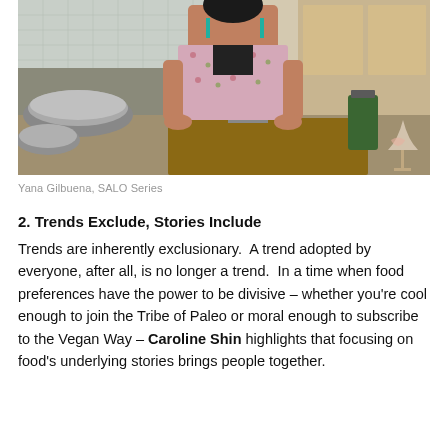[Figure (photo): A woman in a floral dress with teal earrings stands at a kitchen counter chopping food on a wooden board, with a green drink and a wine glass visible in the background.]
Yana Gilbuena, SALO Series
2. Trends Exclude, Stories Include
Trends are inherently exclusionary.  A trend adopted by everyone, after all, is no longer a trend.  In a time when food preferences have the power to be divisive – whether you're cool enough to join the Tribe of Paleo or moral enough to subscribe to the Vegan Way – Caroline Shin highlights that focusing on food's underlying stories brings people together.